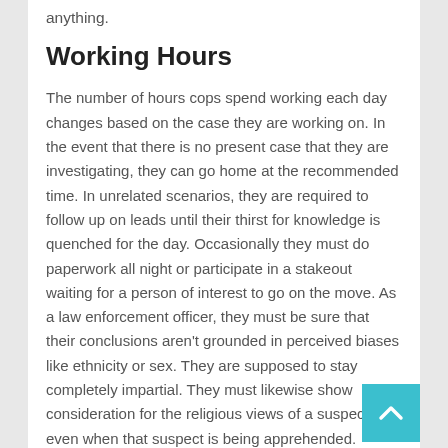anything.
Working Hours
The number of hours cops spend working each day changes based on the case they are working on. In the event that there is no present case that they are investigating, they can go home at the recommended time. In unrelated scenarios, they are required to follow up on leads until their thirst for knowledge is quenched for the day. Occasionally they must do paperwork all night or participate in a stakeout waiting for a person of interest to go on the move. As a law enforcement officer, they must be sure that their conclusions aren't grounded in perceived biases like ethnicity or sex. They are supposed to stay completely impartial. They must likewise show consideration for the religious views of a suspect, even when that suspect is being apprehended.
The jobs and obligations of a law enforcement officer continue endlessly. This is just the tip of the iceberg. Now that you have knowledge of all of this, I am sure you hold law enforcement officers in more esteem now. So, in the event